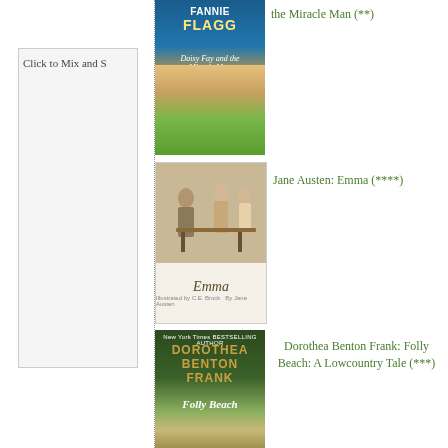[Figure (illustration): Click to Mix and S button/link on left panel]
[Figure (photo): Book cover: Fannie Flagg - Daisy Fay and the Miracle Man]
the Miracle Man (**)
[Figure (photo): Book cover: Jane Austen - Emma, illustrated edition]
Jane Austen: Emma (****)
[Figure (photo): Book cover: Dorothea Benton Frank - Folly Beach: A Lowcountry Tale]
Dorothea Benton Frank: Folly Beach: A Lowcountry Tale (***)